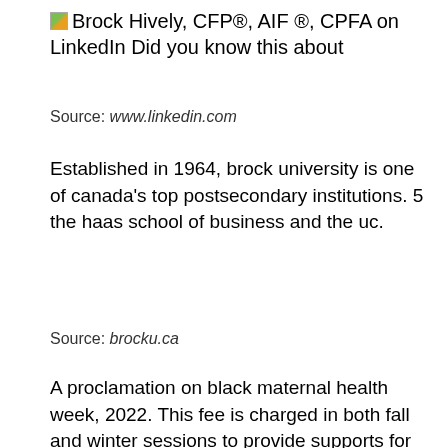Brock Hively, CFP®, AIF ®, CPFA on LinkedIn Did you know this about
Source: www.linkedin.com
Established in 1964, brock university is one of canada's top postsecondary institutions. 5 the haas school of business and the uc.
Source: brocku.ca
A proclamation on black maternal health week, 2022. This fee is charged in both fall and winter sessions to provide supports for graduate students, these